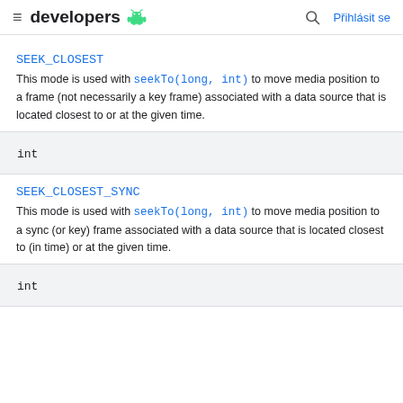developers | Přihlásit se
SEEK_CLOSEST
This mode is used with seekTo(long, int) to move media position to a frame (not necessarily a key frame) associated with a data source that is located closest to or at the given time.
| int |
SEEK_CLOSEST_SYNC
This mode is used with seekTo(long, int) to move media position to a sync (or key) frame associated with a data source that is located closest to (in time) or at the given time.
| int |